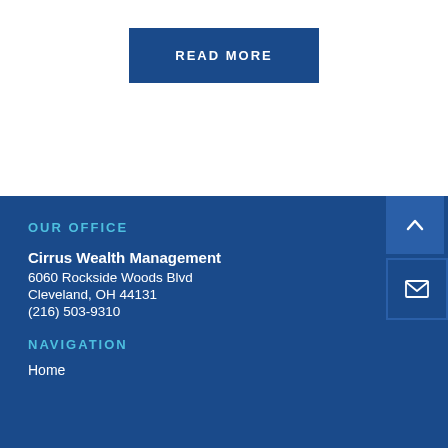READ MORE
OUR OFFICE
Cirrus Wealth Management
6060 Rockside Woods Blvd
Cleveland, OH 44131
(216) 503-9310
NAVIGATION
Home